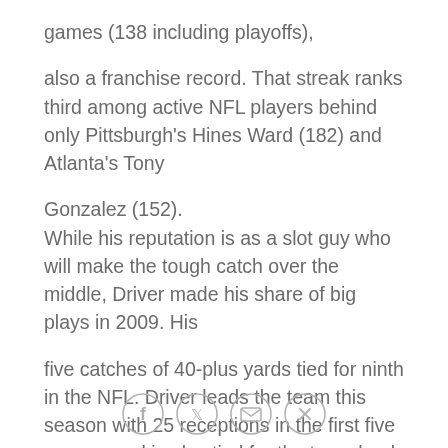games (138 including playoffs),
also a franchise record. That streak ranks third among active NFL players behind only Pittsburgh's Hines Ward (182) and Atlanta's Tony
Gonzalez (152).
While his reputation is as a slot guy who will make the tough catch over the middle, Driver made his share of big plays in 2009. His
five catches of 40-plus yards tied for ninth in the NFL. Driver leads the team this season with 25 receptions in the first five games, and is also tied for the team lead with three TD catches.
His nine receptions in Week 3 at Chicago were the
[Figure (other): Social sharing icons: Facebook, Twitter, Email, Link]